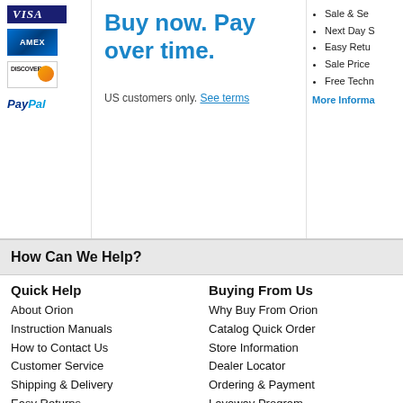[Figure (logo): VISA logo in blue]
[Figure (logo): American Express (AMEX) logo]
[Figure (logo): Discover card logo with orange circle]
[Figure (logo): PayPal logo in blue]
Buy now. Pay over time.
US customers only. See terms
Sale & Se...
Next Day S...
Easy Retu...
Sale Price...
Free Techn...
More Informa...
How Can We Help?
Quick Help
About Orion
Instruction Manuals
How to Contact Us
Customer Service
Shipping & Delivery
Easy Returns
Satisfaction Guaranteed
Gift Certificates
Buying From Us
Why Buy From Orion
Catalog Quick Order
Store Information
Dealer Locator
Ordering & Payment
Layaway Program
Installment Billing
Current Offers
This website uses cookies
Our Site uses "cookies" to keep track of your shopping cart when you order merchandise through our site, to deliver content specific to your interests (including advertisements on third-party websites), and to save your password so you do not have to re-enter it each time you visit our site. In addition, we may share data about your use of our site with our trusted advertising partners. By continuing to use our site, you accept our use of